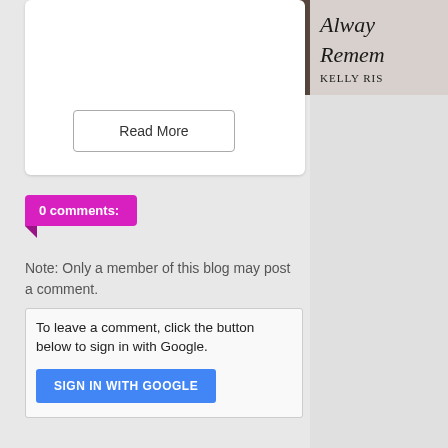[Figure (photo): Book tour banner showing a young woman with dark hair and a green scarf, with text 'hosted by YA BOUND BOOK TOURS' and partial book title 'Always Remember' by Kelly Riss visible on the right side]
Read More
0 comments:
Note: Only a member of this blog may post a comment.
To leave a comment, click the button below to sign in with Google.
SIGN IN WITH GOOGLE